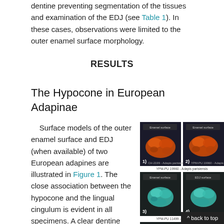dentine preventing segmentation of the tissues and examination of the EDJ (see Table 1). In these cases, observations were limited to the outer enamel surface morphology.
RESULTS
The Hypocone in European Adapinae
Surface models of the outer enamel surface and EDJ (when available) of two European adapines are illustrated in Figure 1. The close association between the hypocone and the lingual cingulum is evident in all specimens. A clear dentine horn for the hypocone can be seen on
[Figure (photo): Four panels showing 3D surface models of Adapis parisiensis teeth. Panels 1 and 2 show orange enamel surface models. Panels 3 and 4 show teal/cyan enamel surface and EDJ surface models of YPM-PU 11499 Adapis parisiensis. Each panel is labeled with 'Enamel surface' or 'EDJ surface'.]
1) CH-2199 - Adapis parisiensis  2) YPM-PU 19960 - Adapis parisiensis  3) 4) YPM-PU 11499 - Adapis parisiensis
^ back to top